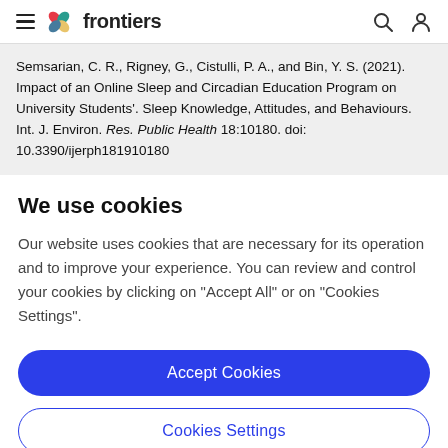frontiers
Semsarian, C. R., Rigney, G., Cistulli, P. A., and Bin, Y. S. (2021). Impact of an Online Sleep and Circadian Education Program on University Students'. Sleep Knowledge, Attitudes, and Behaviours. Int. J. Environ. Res. Public Health 18:10180. doi: 10.3390/ijerph181910180
We use cookies
Our website uses cookies that are necessary for its operation and to improve your experience. You can review and control your cookies by clicking on "Accept All" or on "Cookies Settings".
Accept Cookies
Cookies Settings